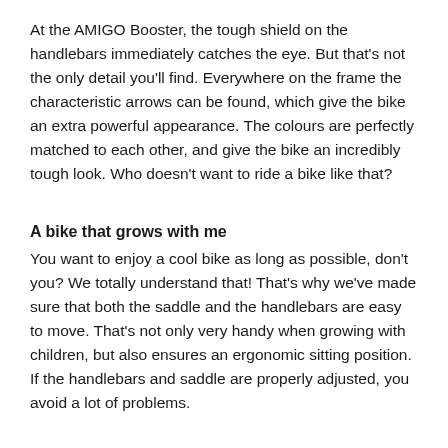At the AMIGO Booster, the tough shield on the handlebars immediately catches the eye. But that's not the only detail you'll find. Everywhere on the frame the characteristic arrows can be found, which give the bike an extra powerful appearance. The colours are perfectly matched to each other, and give the bike an incredibly tough look. Who doesn't want to ride a bike like that?
A bike that grows with me
You want to enjoy a cool bike as long as possible, don't you? We totally understand that! That's why we've made sure that both the saddle and the handlebars are easy to move. That's not only very handy when growing with children, but also ensures an ergonomic sitting position. If the handlebars and saddle are properly adjusted, you avoid a lot of problems.
The bike for you
Are you looking for a robust and tough boy's bike? Then the